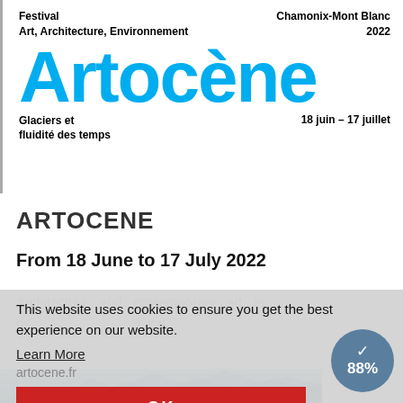Festival Art, Architecture, Environnement | Chamonix-Mont Blanc 2022
Artocène
Glaciers et fluidité des temps | 18 juin – 17 juillet
ARTOCENE
From 18 June to 17 July 2022
Architecture and contemporary art in ... ice
This website uses cookies to ensure you get the best experience on our website.
Learn More
artocene.fr
OK
88%